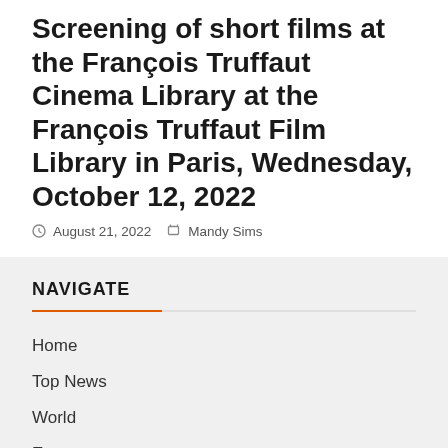Screening of short films at the François Truffaut Cinema Library at the François Truffaut Film Library in Paris, Wednesday, October 12, 2022
August 21, 2022  Mandy Sims
NAVIGATE
Home
Top News
World
Economy
science
Technology